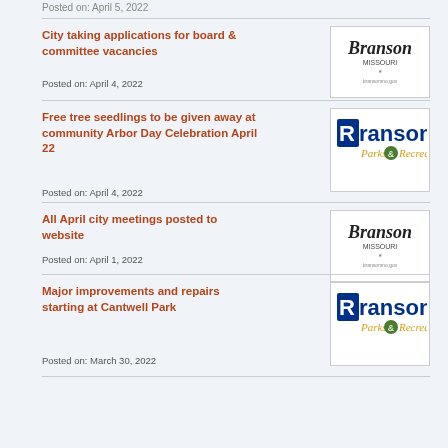Posted on: April 5, 2022
City taking applications for board & committee vacancies
Posted on: April 4, 2022
[Figure (logo): Branson Missouri city logo]
Free tree seedlings to be given away at community Arbor Day Celebration April 22
Posted on: April 4, 2022
[Figure (logo): Branson Parks & Recreation logo]
All April city meetings posted to website
Posted on: April 1, 2022
[Figure (logo): Branson Missouri city logo]
Major improvements and repairs starting at Cantwell Park
Posted on: March 30, 2022
[Figure (logo): Branson Parks & Recreation logo]